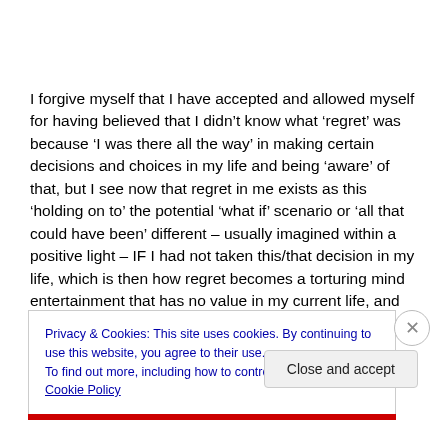I forgive myself that I have accepted and allowed myself for having believed that I didn't know what 'regret' was because 'I was there all the way' in making certain decisions and choices in my life and being 'aware' of that, but I see now that regret in me exists as this 'holding on to' the potential 'what if' scenario or 'all that could have been' different – usually imagined within a positive light – IF I had not taken this/that decision in my life, which is then how regret becomes a torturing mind entertainment that has no value in my current life, and therefore I let go of it within the realization that I can only now reflect on that
Privacy & Cookies: This site uses cookies. By continuing to use this website, you agree to their use.
To find out more, including how to control cookies, see here: Cookie Policy